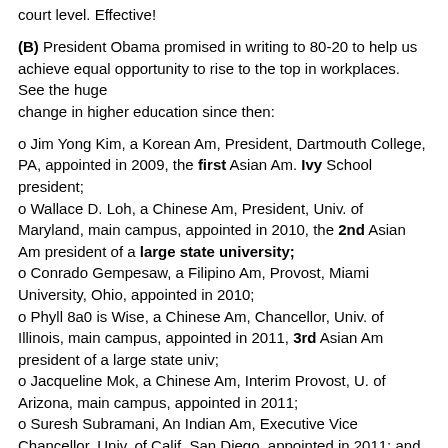court level. Effective!
(B) President Obama promised in writing to 80-20 to help us achieve equal opportunity to rise to the top in workplaces. See the huge change in higher education since then:
o Jim Yong Kim, a Korean Am, President, Dartmouth College, PA, appointed in 2009, the first Asian Am. Ivy School president;
o Wallace D. Loh, a Chinese Am, President, Univ. of Maryland, main campus, appointed in 2010, the 2nd Asian Am president of a large state university;
o Conrado Gempesaw, a Filipino Am, Provost, Miami University, Ohio, appointed in 2010;
o Phyll 8a0 is Wise, a Chinese Am, Chancellor, Univ. of Illinois, main campus, appointed in 2011, 3rd Asian Am president of a large state univ;
o Jacqueline Mok, a Chinese Am, Interim Provost, U. of Arizona, main campus, appointed in 2011;
o Suresh Subramani, An Indian Am, Executive Vice Chancellor, Univ. of Calif, San Diego, appointed in 2011; and